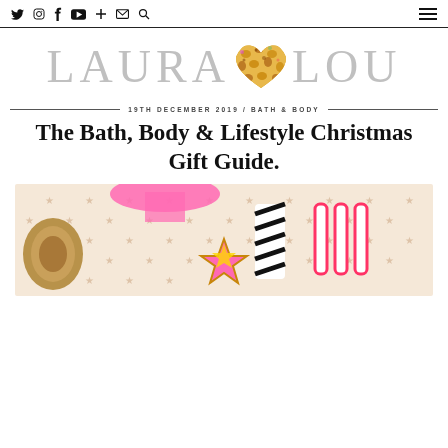Twitter Instagram Facebook YouTube Google+ Email Search | Menu
[Figure (logo): Laura Lou blog logo with large grey serif text LAURA and LOU with a leopard print heart in the center]
19TH DECEMBER 2019 / BATH & BODY
The Bath, Body & Lifestyle Christmas Gift Guide.
[Figure (photo): Close-up photo of Christmas gift wrapping items: twine roll, pink ribbon, star-patterned wrapping paper, candy canes, and a Wonder Woman star sticker in pink and gold]